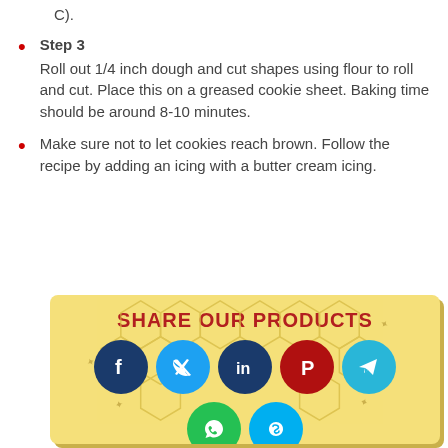C).
Step 3
Roll out 1/4 inch dough and cut shapes using flour to roll and cut. Place this on a greased cookie sheet. Baking time should be around 8-10 minutes.
Make sure not to let cookies reach brown. Follow the recipe by adding an icing with a butter cream icing.
[Figure (infographic): Share Our Products banner with social media icons (Facebook, Twitter, LinkedIn, Pinterest, Telegram, WhatsApp, Skype) on a yellow honeycomb background]